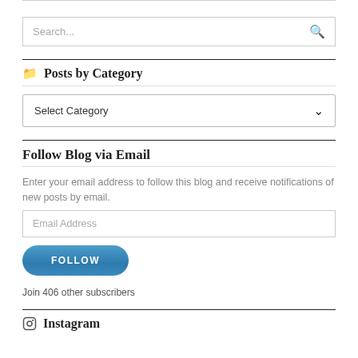[Figure (screenshot): Search bar with placeholder text 'Search...' and a search icon on the right]
Posts by Category
[Figure (screenshot): Dropdown select box with 'Select Category' label and a down-chevron arrow]
Follow Blog via Email
Enter your email address to follow this blog and receive notifications of new posts by email.
[Figure (screenshot): Email address input field with placeholder 'Email Address']
[Figure (screenshot): Blue rounded FOLLOW button]
Join 406 other subscribers
Instagram